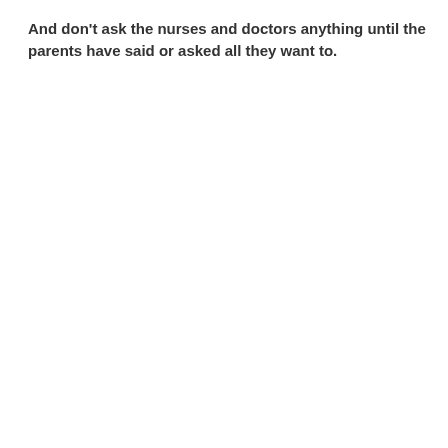And don't ask the nurses and doctors anything until the parents have said or asked all they want to.